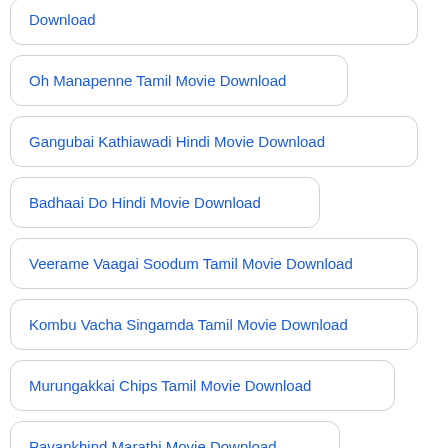Download
Oh Manapenne Tamil Movie Download
Gangubai Kathiawadi Hindi Movie Download
Badhaai Do Hindi Movie Download
Veerame Vaagai Soodum Tamil Movie Download
Kombu Vacha Singamda Tamil Movie Download
Murungakkai Chips Tamil Movie Download
Pavankhind Marathi Movie Download
Mala... Tamil Movie Download